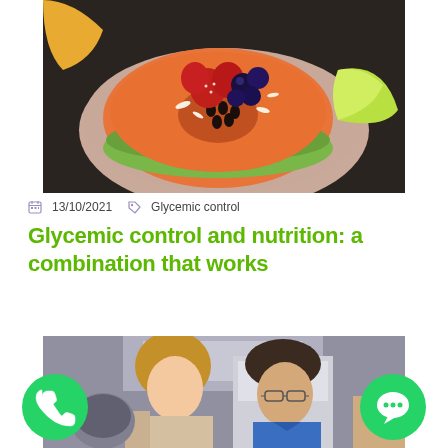[Figure (photo): Top-down view of a halved papaya topped with strawberries, blueberries, and shredded coconut on a plate, with a lime wedge beside it.]
13/10/2021  Glycemic control
Glycemic control and nutrition: a combination that works
[Figure (photo): Two people, a woman and a man wearing glasses, looking down at something together in a kitchen setting.]
[Figure (logo): Green WhatsApp phone icon button on the bottom left.]
[Figure (logo): Green chat bubble icon button on the bottom right.]